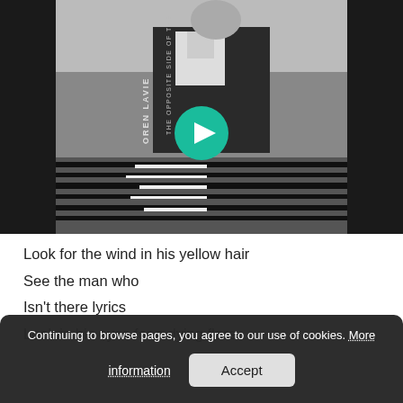[Figure (photo): Black and white album cover photo of Oren Lavie - 'The Opposite Side of the Sea', showing a man in a suit standing in water with reflection. A teal play button overlay is centered on the image.]
Look for the wind in his yellow hair
See the man who
Isn't there lyrics
Look in his eyes for a dying flare
Continuing to browse pages, you agree to our use of cookies. More information   Accept